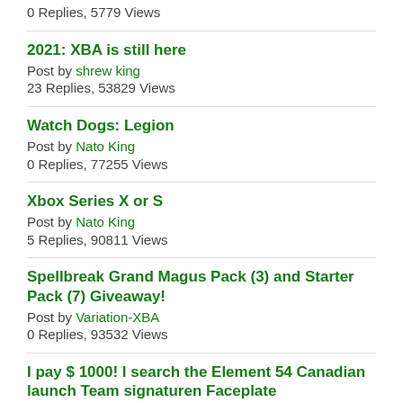0 Replies, 5779 Views
2021: XBA is still here
Post by shrew king
23 Replies, 53829 Views
Watch Dogs: Legion
Post by Nato King
0 Replies, 77255 Views
Xbox Series X or S
Post by Nato King
5 Replies, 90811 Views
Spellbreak Grand Magus Pack (3) and Starter Pack (7) Giveaway!
Post by Variation-XBA
0 Replies, 93532 Views
I pay $ 1000! I search the Element 54 Canadian launch Team signaturen Faceplate
Post by Smill
0 Replies, 100701 Views